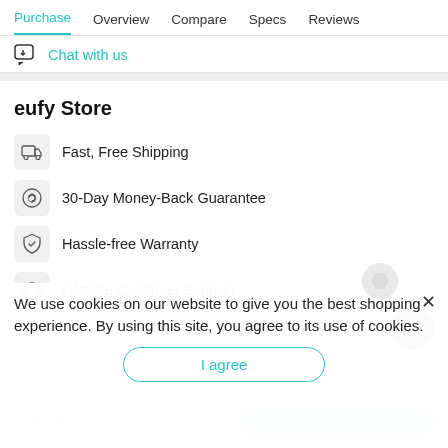Purchase  Overview  Compare  Specs  Reviews
Chat with us
eufy Store
Fast, Free Shipping
30-Day Money-Back Guarantee
Hassle-free Warranty
Lifetime Customer Support
We use cookies on our website to give you the best shopping experience. By using this site, you agree to its use of cookies.
I agree